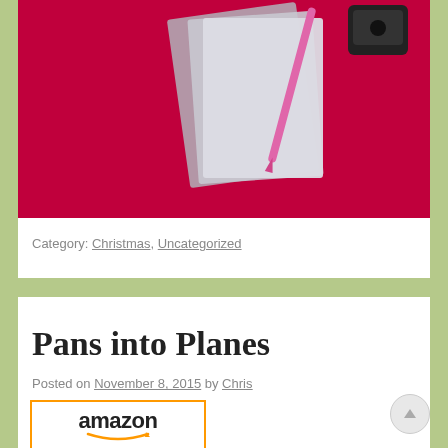[Figure (photo): Photo of craft/office supplies on a red background, including paper, a pink pen/pencil, and a black hole punch]
Category: Christmas, Uncategorized
Pans into Planes
Posted on November 8, 2015 by Chris
[Figure (photo): Amazon product listing image showing a small insulated bag/container with a dark green lid, displayed with the Amazon logo at top with orange smile arrow]